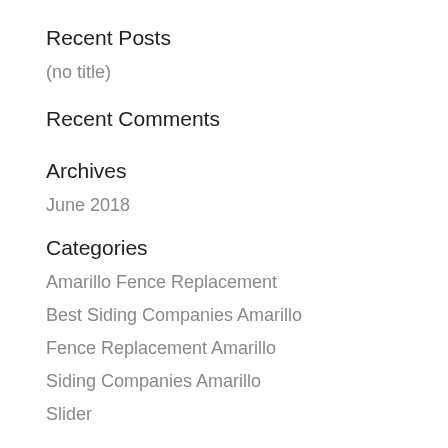Recent Posts
(no title)
Recent Comments
Archives
June 2018
Categories
Amarillo Fence Replacement
Best Siding Companies Amarillo
Fence Replacement Amarillo
Siding Companies Amarillo
Slider